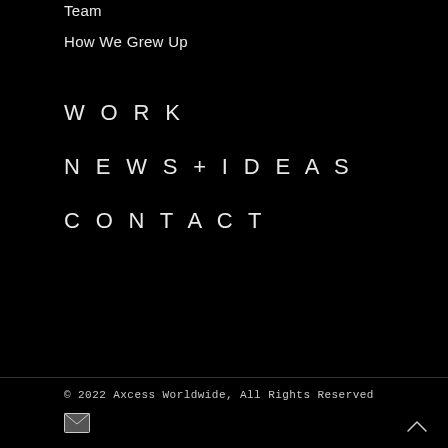Team
How We Grew Up
WORK
NEWS + IDEAS
CONTACT
© 2022 Axcess Worldwide, All Rights Reserved